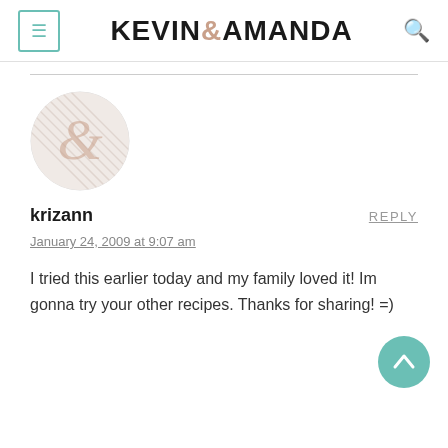KEVIN & AMANDA
[Figure (logo): Kevin & Amanda blog logo with ampersand avatar placeholder]
krizann
REPLY
January 24, 2009 at 9:07 am
I tried this earlier today and my family loved it! Im gonna try your other recipes. Thanks for sharing! =)